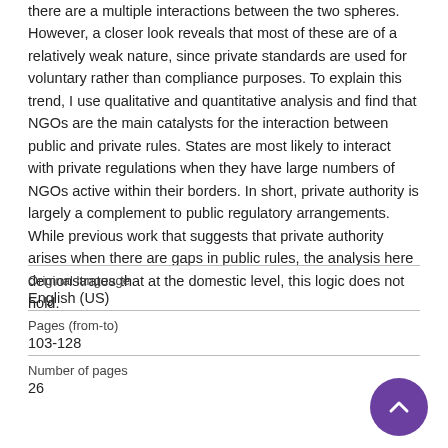there are a multiple interactions between the two spheres. However, a closer look reveals that most of these are of a relatively weak nature, since private standards are used for voluntary rather than compliance purposes. To explain this trend, I use qualitative and quantitative analysis and find that NGOs are the main catalysts for the interaction between public and private rules. States are most likely to interact with private regulations when they have large numbers of NGOs active within their borders. In short, private authority is largely a complement to public regulatory arrangements. While previous work that suggests that private authority arises when there are gaps in public rules, the analysis here demonstrates that at the domestic level, this logic does not hold.
| Field | Value |
| --- | --- |
| Original language | English (US) |
| Pages (from-to) | 103-128 |
| Number of pages | 26 |